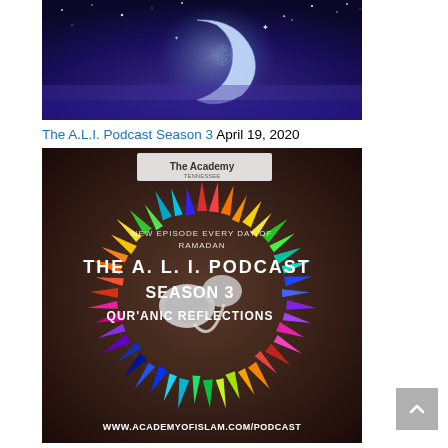[Figure (photo): Dark blue/purple night sky background with a glowing white crescent moon decorated with ornamental patterns, stars scattered around]
The A.L.I. Podcast Season 3 April 19, 2020
[Figure (photo): Podcast cover art for The A.L.I. Podcast Season 3 - Qur'anic Reflections. Shows earbuds on a dark background surrounded by a circle of colorful triangular spikes. Text reads: NEW EPISODE EVERY DAY OF RAMADAN / THE A. L. I. PODCAST / SEASON 3 / QUR'ANIC REFLECTIONS / WWW.ACADEMYOFISLAM.COM/PODCAST. Academy of Tennessee logo visible at top.]